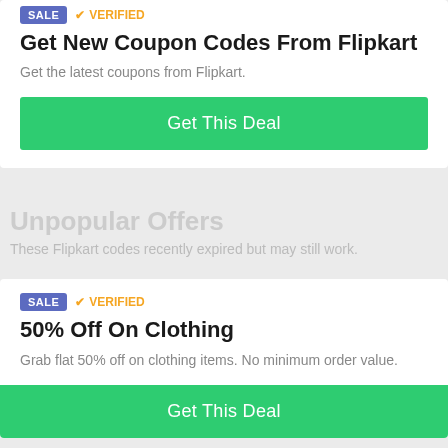Get New Coupon Codes From Flipkart
Get the latest coupons from Flipkart.
Get This Deal
Unpopular Offers
These Flipkart codes recently expired but may still work.
50% Off On Clothing
Grab flat 50% off on clothing items. No minimum order value.
Get This Deal